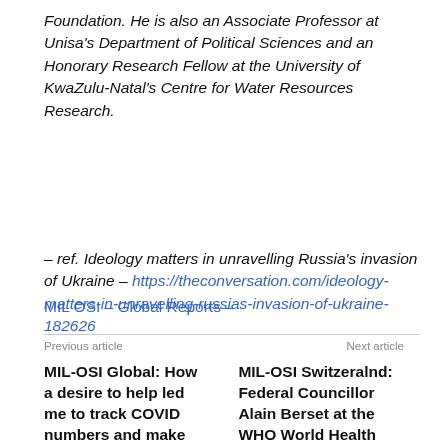Foundation. He is also an Associate Professor at Unisa's Department of Political Sciences and an Honorary Research Fellow at the University of KwaZulu-Natal's Centre for Water Resources Research.
– ref. Ideology matters in unravelling Russia's invasion of Ukraine – https://theconversation.com/ideology-matters-in-unravelling-russias-invasion-of-ukraine-182626
MIL OSI – Global Reports –
Previous article
Next article
MIL-OSI Global: How a desire to help led me to track COVID numbers and make sense of them through graphs
MIL-OSI Switzeralnd: Federal Councillor Alain Berset at the WHO World Health Assembly